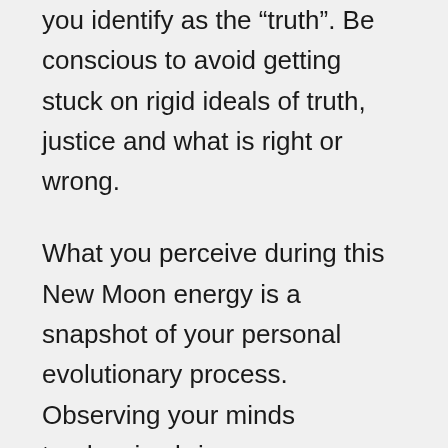you identify as the "truth". Be conscious to avoid getting stuck on rigid ideals of truth, justice and what is right or wrong.
What you perceive during this New Moon energy is a snapshot of your personal evolutionary process. Observing your minds tendencies brings awareness and realization of how your personal history, beliefs and ideas has guided your growth. The mind is but a reflection and/or projection of all your life experiences that has led you to this moment. This awareness is a gift to you from this Sagittarius new moon. It has the power to free you from the constraints of self-imposed beliefs that have been